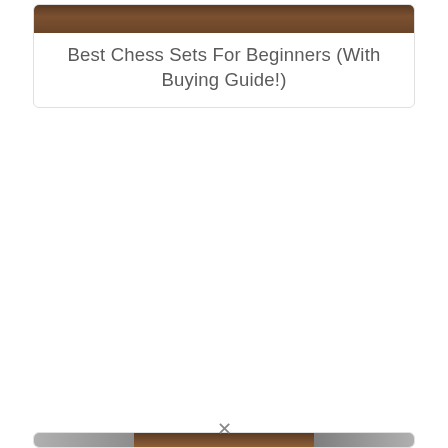[Figure (photo): Partial image of what appears to be a wooden chess board or chess set, shown at top of a card]
Best Chess Sets For Beginners (With Buying Guide!)
[Figure (photo): Partial image of a chess-related product shown at bottom of page, partially cropped]
×